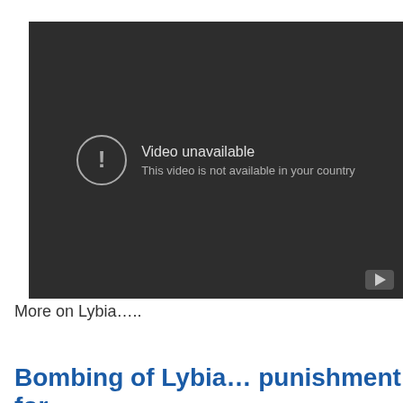[Figure (screenshot): Embedded video player showing an error message: 'Video unavailable. This video is not available in your country.' Dark background with YouTube icon in bottom right corner.]
More on Lybia…..
Bombing of Lybia… punishment for